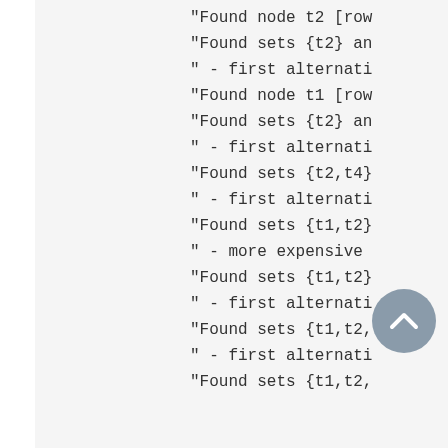"Found node t2 [row
"Found sets {t2} an
" - first alternati
"Found node t1 [row
"Found sets {t2} an
" - first alternati
"Found sets {t2,t4}
" - first alternati
"Found sets {t1,t2}
" - more expensive
"Found sets {t1,t2}
" - first alternati
"Found sets {t1,t2,
" - first alternati
"Found sets {t1,t2,
[Figure (other): Scroll-to-top navigation button, circular grey button with upward chevron arrow]